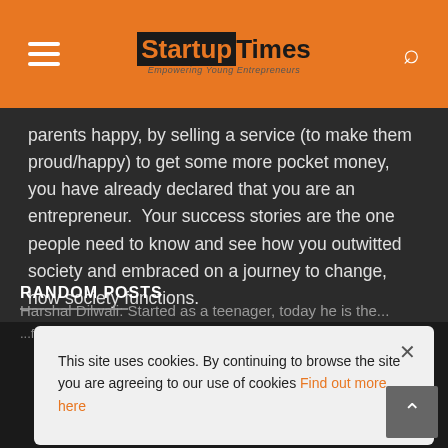Startup Times — Empowering Young Entrepreneurs
parents happy, by selling a service (to make them proud/happy) to get some more pocket money, you have already declared that you are an entrepreneur.  Your success stories are the one people need to know and see how you outwitted society and embraced on a journey to change, how society functions.
RANDOM POSTS
Harshal Dilwali: Started as a teenager, today he is the...
...from his portfolio. Simply ₹1.25 billion in a...
This site uses cookies. By continuing to browse the site you are agreeing to our use of cookies Find out more here